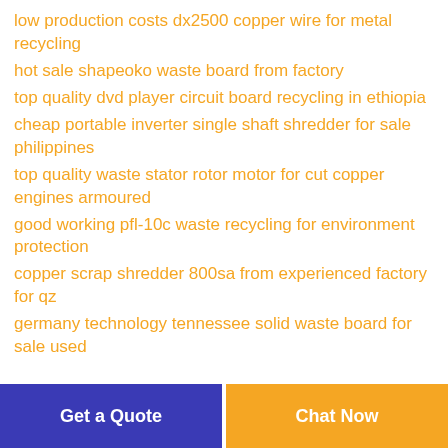low production costs dx2500 copper wire for metal recycling
hot sale shapeoko waste board from factory
top quality dvd player circuit board recycling in ethiopia
cheap portable inverter single shaft shredder for sale philippines
top quality waste stator rotor motor for cut copper engines armoured
good working pfl-10c waste recycling for environment protection
copper scrap shredder 800sa from experienced factory for qz
germany technology tennessee solid waste board for sale used
Get a Quote  Chat Now